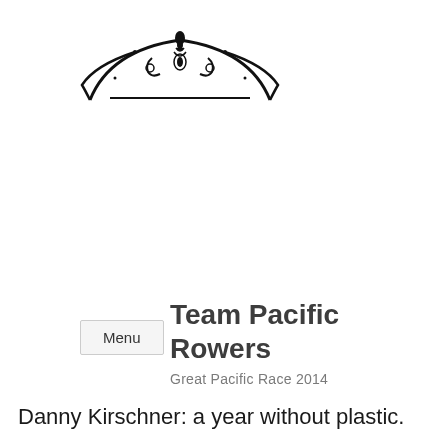[Figure (logo): Decorative ornamental logo with a stylized arch and floral/scroll design in black]
Team Pacific Rowers
Great Pacific Race 2014
Menu
Danny Kirschner: a year without plastic.